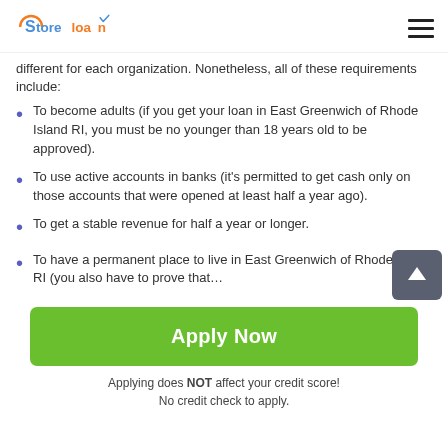Store loan
different for each organization. Nonetheless, all of these requirements include:
To become adults (if you get your loan in East Greenwich of Rhode Island RI, you must be no younger than 18 years old to be approved).
To use active accounts in banks (it's permitted to get cash only on those accounts that were opened at least half a year ago).
To get a stable revenue for half a year or longer.
To have a permanent place to live in East Greenwich of Rhode Island RI (you also have to prove that…
Apply Now
Applying does NOT affect your credit score!
No credit check to apply.